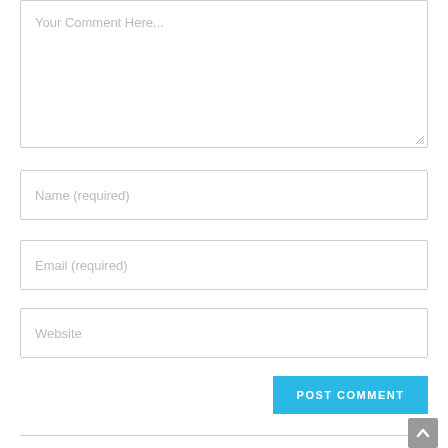[Figure (screenshot): Comment form with textarea placeholder 'Your Comment Here...', input fields for Name (required), Email (required), Website, and a POST COMMENT button in cyan/blue.]